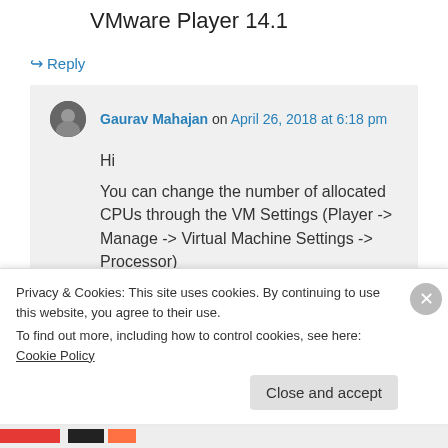VMware Player 14.1
↪ Reply
Gaurav Mahajan on April 26, 2018 at 6:18 pm
Hi
You can change the number of allocated CPUs through the VM Settings (Player -> Manage -> Virtual Machine Settings -> Processor)
Privacy & Cookies: This site uses cookies. By continuing to use this website, you agree to their use.
To find out more, including how to control cookies, see here: Cookie Policy
Close and accept